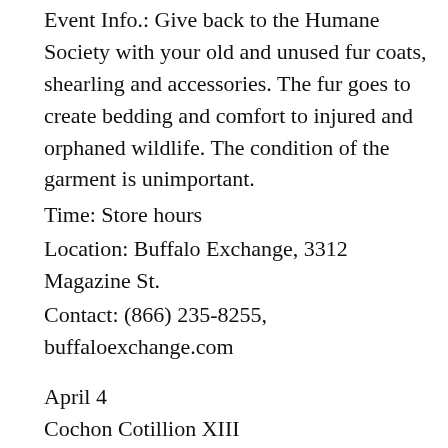Event Info.: Give back to the Humane Society with your old and unused fur coats, shearling and accessories. The fur goes to create bedding and comfort to injured and orphaned wildlife. The condition of the garment is unimportant.
Time: Store hours
Location: Buffalo Exchange, 3312 Magazine St.
Contact: (866) 235-8255, buffaloexchange.com
April 4
Cochon Cotillion XIII
Benefits: Bridge House
Event Info.: Parody of a Mardi Gras Ball